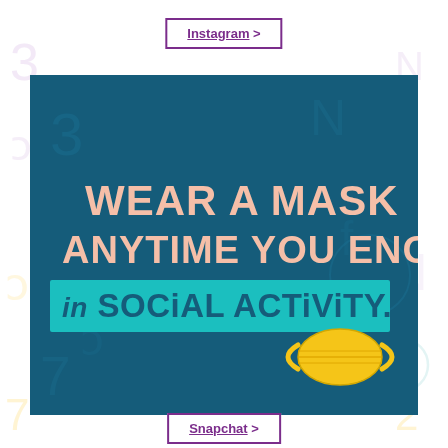Instagram >
[Figure (infographic): Dark teal background infographic with text 'WEAR A MASK ANYTIME YOU ENGAGE in SOCIAL ACTIVITY.' with a yellow face mask illustration. The phrase 'in SOCIAL ACTIVITY.' is highlighted on a teal/cyan banner.]
Snapchat >